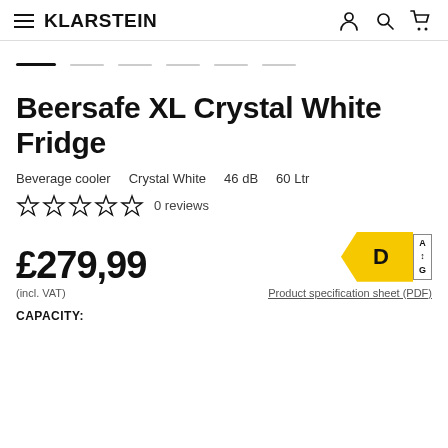KLARSTEIN
Beersafe XL Crystal White Fridge
Beverage cooler    Crystal White    46 dB    60 Ltr
0 reviews
£279,99
(incl. VAT)
Product specification sheet (PDF)
CAPACITY: